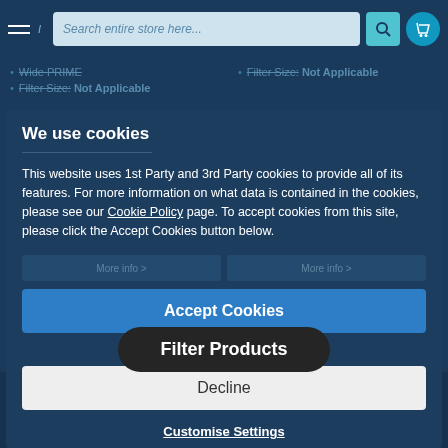Search entire store here...
Wide PRIME
Filter Size: Not Applicable
Filter Size: Not Applicable
We use cookies
This website uses 1st Party and 3rd Party cookies to provide all of its features. For more information on what data is contained in the cookies, please see our Cookie Policy page. To accept cookies from this site, please click the Accept Cookies button below.
Accept Cookies
Filter Products
Decline
Customise Settings